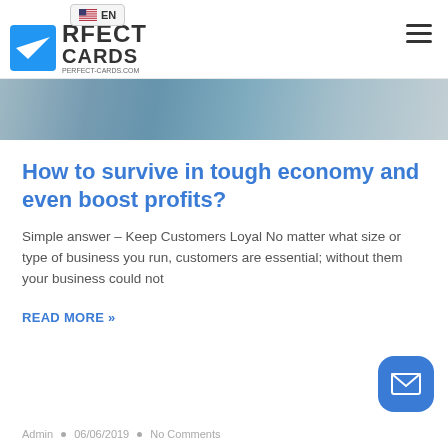Perfect Cards — EN — perfectcards.com
[Figure (photo): Partial view of people walking, cropped photo strip showing bodies/legs in casual clothing]
How to survive in tough economy and even boost profits?
Simple answer – Keep Customers Loyal No matter what size or type of business you run, customers are essential; without them your business could not
READ MORE »
Admin  •  06/06/2019  •  No Comments